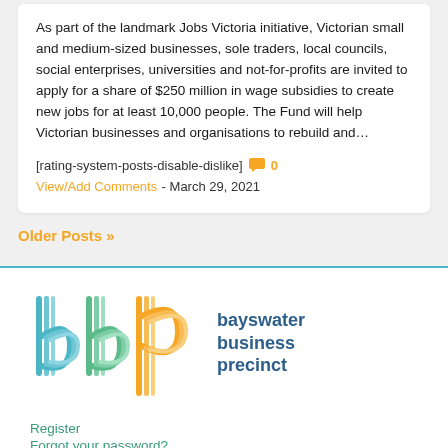As part of the landmark Jobs Victoria initiative, Victorian small and medium-sized businesses, sole traders, local councils, social enterprises, universities and not-for-profits are invited to apply for a share of $250 million in wage subsidies to create new jobs for at least 10,000 people. The Fund will help Victorian businesses and organisations to rebuild and…
[rating-system-posts-disable-dislike]  0  View/Add Comments - March 29, 2021
Older Posts »
[Figure (logo): Bayswater Business Precinct logo with stylized 'bbp' letters in blue, green, and orange colors, followed by text 'bayswater business precinct' in dark blue]
Register
Forgot your password?